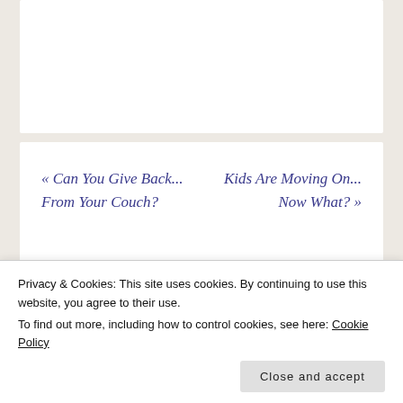[Figure (other): White card area at the top of the page (content partially visible/cropped)]
« Can You Give Back... From Your Couch?
Kids Are Moving On... Now What? »
About Cristie Ritz King
Privacy & Cookies: This site uses cookies. By continuing to use this website, you agree to their use.
To find out more, including how to control cookies, see here: Cookie Policy
Close and accept